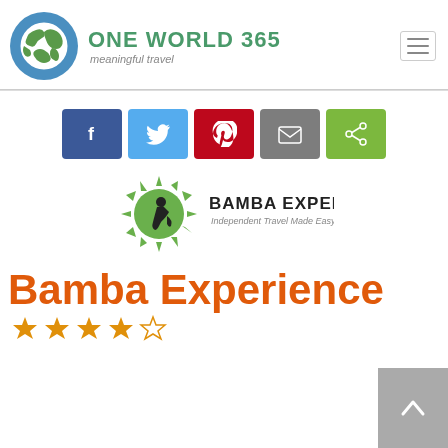[Figure (logo): One World 365 logo: globe icon with blue circle border containing green world map, beside brand name ONE WORLD 365 in green and tagline 'meaningful travel' in gray italic]
[Figure (other): Social sharing buttons: Facebook (blue, f icon), Twitter (light blue, bird icon), Pinterest (red, P icon), Email (gray, envelope icon), Share (green, share icon)]
[Figure (logo): Bamba Experience logo: green spiky circle with black silhouette of person kneeling, beside text BAMBA EXPERIENCE and subtitle Independent Travel Made Easy!]
Bamba Experience
[Figure (other): Star rating row: 4 orange/gold filled stars and 1 partial/empty star]
[Figure (other): Back to top button: gray square with white upward chevron/caret]